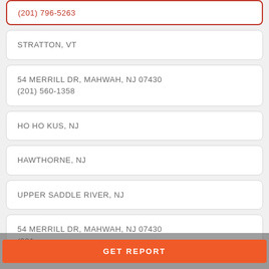(201) 796-5263
STRATTON, VT
54 MERRILL DR, MAHWAH, NJ 07430
(201) 560-1358
HO HO KUS, NJ
HAWTHORNE, NJ
UPPER SADDLE RIVER, NJ
54 MERRILL DR, MAHWAH, NJ 07430
(201)...
GET REPORT